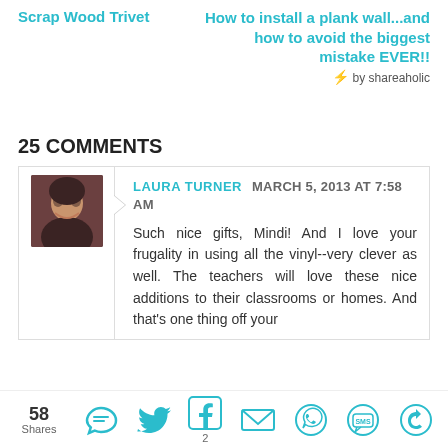Scrap Wood Trivet
How to install a plank wall...and how to avoid the biggest mistake EVER!!
⚡ by shareaholic
25 COMMENTS
LAURA TURNER  MARCH 5, 2013 AT 7:58 AM
Such nice gifts, Mindi! And I love your frugality in using all the vinyl--very clever as well. The teachers will love these nice additions to their classrooms or homes. And that's one thing off your
58 Shares